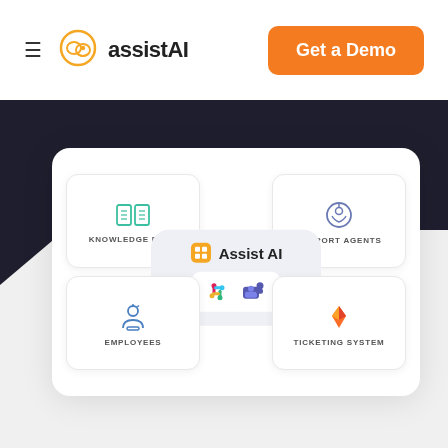assistAI | Get a Demo
[Figure (flowchart): AssistAI integration diagram showing connections between Knowledge Base, Assist AI (center, with Slack and Microsoft Teams icons), Support Agents, Employees, and Ticketing System, connected by dashed and solid arrows.]